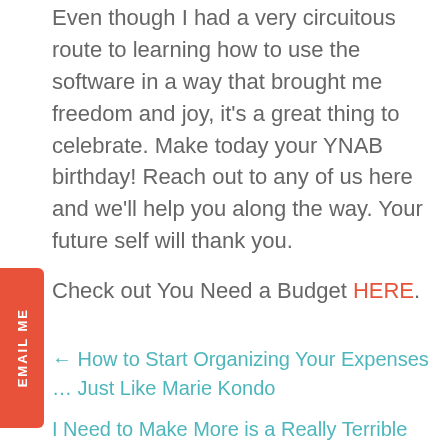Even though I had a very circuitous route to learning how to use the software in a way that brought me freedom and joy, it's a great thing to celebrate. Make today your YNAB birthday! Reach out to any of us here and we'll help you along the way. Your future self will thank you.
Check out You Need a Budget HERE.
← How to Start Organizing Your Expenses … Just Like Marie Kondo
I Need to Make More is a Really Terrible Income Goal →